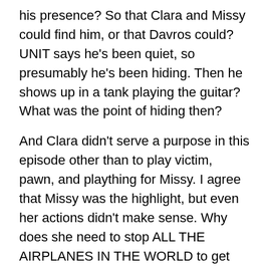his presence? So that Clara and Missy could find him, or that Davros could? UNIT says he's been quiet, so presumably he's been hiding. Then he shows up in a tank playing the guitar? What was the point of hiding then?
And Clara didn't serve a purpose in this episode other than to play victim, pawn, and plaything for Missy. I agree that Missy was the highlight, but even her actions didn't make sense. Why does she need to stop ALL THE AIRPLANES IN THE WORLD to get UNIT's attention, only to basically ignore UNIT for the rest of the episode? If Clara was all she wanted, couldn't she have just snatched her from school? It's not as if she's hiding.
All the evidence suggests that the audience is